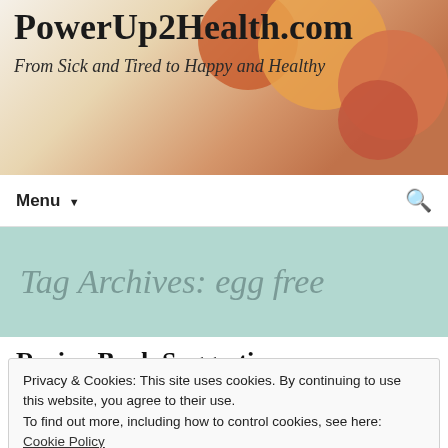PowerUp2Health.com — From Sick and Tired to Happy and Healthy
Tag Archives: egg free
Recipe Book Suggestions
May 11, 2015   Uncategorized   Autoimmune, Candida,
Privacy & Cookies: This site uses cookies. By continuing to use this website, you agree to their use. To find out more, including how to control cookies, see here: Cookie Policy